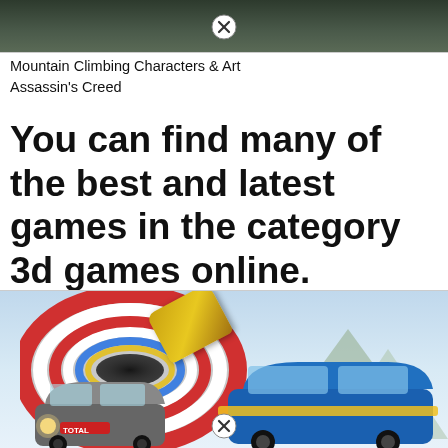[Figure (screenshot): Top portion of a darkened screenshot showing mountain climbing or nature scene with a close/remove button (X in circle) overlaid at the top center]
Mountain Climbing Characters & Art
Assassin's Creed
You can find many of the best and latest games in the category 3d games online.
[Figure (screenshot): Screenshot of a 3D racing game showing a blue sports car in the foreground, a smaller rally car with TOTAL branding on the left, a flying/spinning yellow car in the air, and a red/white spiral tunnel in the background with mountains visible on the right. A close/remove button (X in circle) is overlaid at the bottom center.]